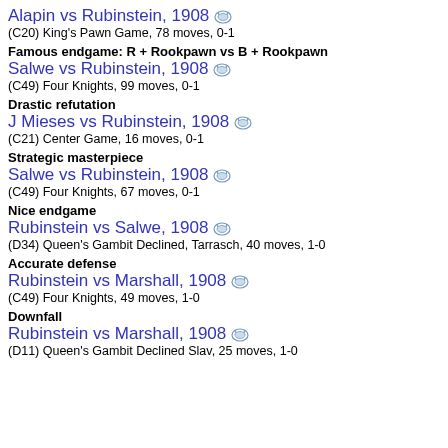Alapin vs Rubinstein, 1908 [icon]
(C20) King's Pawn Game, 78 moves, 0-1
Famous endgame: R + Rookpawn vs B + Rookpawn
Salwe vs Rubinstein, 1908 [icon]
(C49) Four Knights, 99 moves, 0-1
Drastic refutation
J Mieses vs Rubinstein, 1908 [icon]
(C21) Center Game, 16 moves, 0-1
Strategic masterpiece
Salwe vs Rubinstein, 1908 [icon]
(C49) Four Knights, 67 moves, 0-1
Nice endgame
Rubinstein vs Salwe, 1908 [icon]
(D34) Queen's Gambit Declined, Tarrasch, 40 moves, 1-0
Accurate defense
Rubinstein vs Marshall, 1908 [icon]
(C49) Four Knights, 49 moves, 1-0
Downfall
Rubinstein vs Marshall, 1908 [icon]
(D11) Queen's Gambit Declined Slav, 25 moves, 1-0